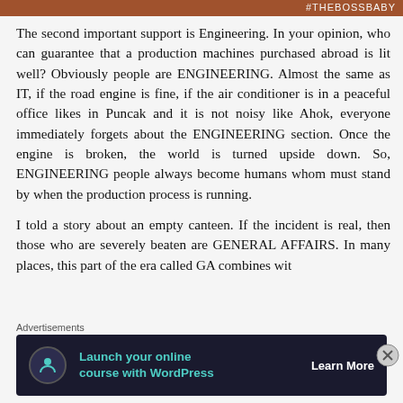#THEBOSSBABY
The second important support is Engineering. In your opinion, who can guarantee that a production machines purchased abroad is lit well? Obviously people are ENGINEERING. Almost the same as IT, if the road engine is fine, if the air conditioner is in a peaceful office likes in Puncak and it is not noisy like Ahok, everyone immediately forgets about the ENGINEERING section. Once the engine is broken, the world is turned upside down. So, ENGINEERING people always become humans whom must stand by when the production process is running.
I told a story about an empty canteen. If the incident is real, then those who are severely beaten are GENERAL AFFAIRS. In many places, this part of the era called GA combines wit
Advertisements
[Figure (infographic): Advertisement banner: dark background with circular icon showing a person/tree symbol, teal text 'Launch your online course with WordPress', white bold 'Learn More' button text]